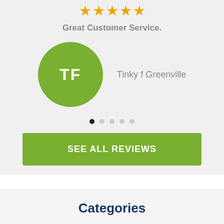[Figure (other): Five orange star rating icons displayed in a row]
Great Customer Service.
[Figure (other): Green circular avatar with white initials TF next to reviewer name Tinky f Greenville]
[Figure (other): Carousel navigation dots, first dot active (dark), four inactive (light gray)]
SEE ALL REVIEWS
Categories
Business Insurance